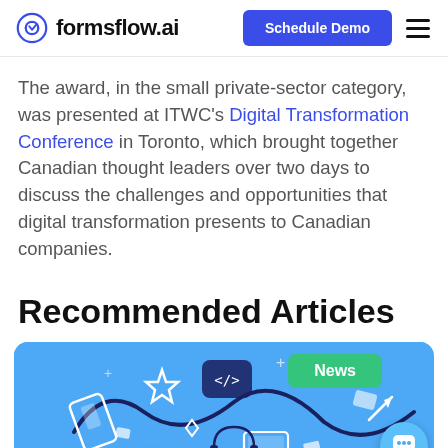formsflow.ai | Schedule Demo
The award, in the small private-sector category, was presented at ITWC's Digital Transformation Conference in Toronto, which brought together Canadian thought leaders over two days to discuss the challenges and opportunities that digital transformation presents to Canadian companies.
Recommended Articles
[Figure (illustration): Blue card with tech/digital transformation illustration icons (code tags, star, devices, letters, etc.) and a green 'News' badge, with a chat bubble button in the bottom right corner.]